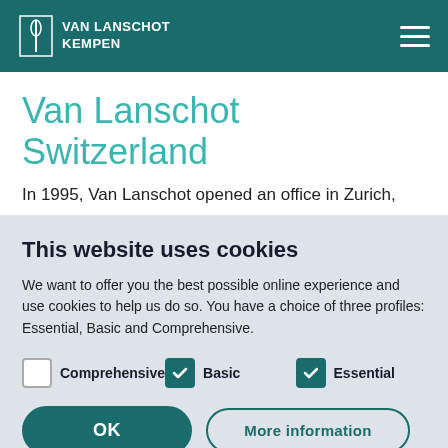VAN LANSCHOT KEMPEN
Van Lanschot Switzerland
In 1995, Van Lanschot opened an office in Zurich,
This website uses cookies
We want to offer you the best possible online experience and use cookies to help us do so. You have a choice of three profiles: Essential, Basic and Comprehensive.
Comprehensive  Basic  Essential
OK  More information